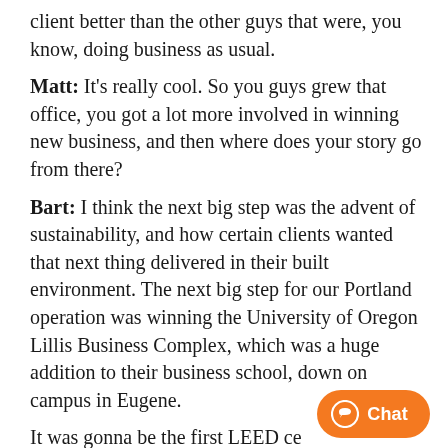client better than the other guys that were, you know, doing business as usual.
Matt: It's really cool. So you guys grew that office, you got a lot more involved in winning new business, and then where does your story go from there?
Bart: I think the next big step was the advent of sustainability, and how certain clients wanted that next thing delivered in their built environment. The next big step for our Portland operation was winning the University of Oregon Lillis Business Complex, which was a huge addition to their business school, down on campus in Eugene.
It was gonna be the first LEED ce[rtified building that was on campus in O…]
[Figure (other): Orange chat button widget with speech bubble icon and 'Chat' label in bottom-right corner]